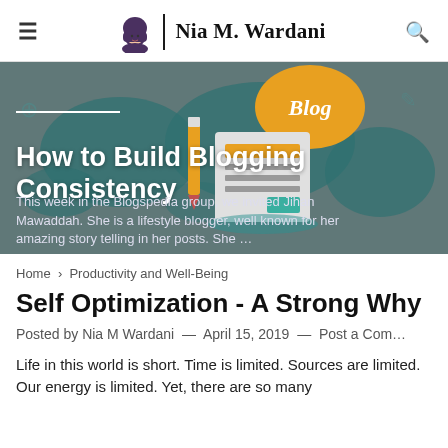Nia M. Wardani
[Figure (illustration): Blog header hero image showing a world map background in dark teal, a large orange speech bubble with 'Blog' in script text, a pencil, and a document icon. Overlaid text: 'How to Build Blogging Consistency' (white, bold) and excerpt text beginning 'This week in the Blogspedia group, we invited Jihan Mawaddah. She is a lifestyle blogger, well known for her amazing story telling in her posts. She ...']
Home › Productivity and Well-Being
Self Optimization - A Strong Why
Posted by Nia M Wardani — April 15, 2019 — Post a Com…
Life in this world is short. Time is limited. Sources are limited. Our energy is limited. Yet, there are so many